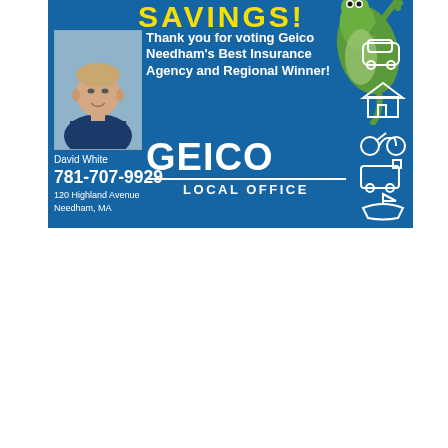[Figure (advertisement): GEICO Local Office advertisement banner. Blue background with yellow 'SAVINGS!' text at top. Contains a headshot photo of David White, the GEICO local agent. Text reads 'Thank you for voting Geico Needham's Best Insurance Agency and Regional Winner!' with the GEICO logo and 'LOCAL OFFICE' below it. Contact info: David White, 781-707-9929, 120 Highland Avenue, Needham, MA. Insurance category icons (car, home, motorcycle, RV, boat) shown on right side. Gecko mascot visible on right.]